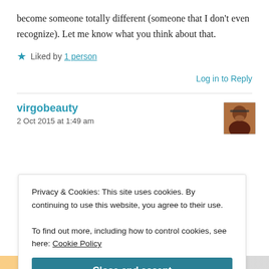become someone totally different (someone that I don't even recognize). Let me know what you think about that.
Liked by 1 person
Log in to Reply
virgobeauty
2 Oct 2015 at 1:49 am
Privacy & Cookies: This site uses cookies. By continuing to use this website, you agree to their use.
To find out more, including how to control cookies, see here: Cookie Policy
Close and accept